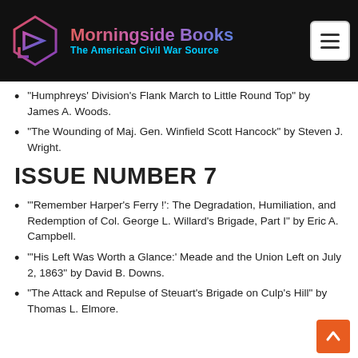[Figure (logo): Morningside Books logo with geometric arrow icon and text 'Morningside Books - The American Civil War Source' on black background, with hamburger menu button top right]
“Humphreys’ Division’s Flank March to Little Round Top” by James A. Woods.
“The Wounding of Maj. Gen. Winfield Scott Hancock” by Steven J. Wright.
ISSUE NUMBER 7
‘‘Remember Harper’s Ferry !’: The Degradation, Humiliation, and Redemption of Col. George L. Willard’s Brigade, Part I” by Eric A. Campbell.
“‘His Left Was Worth a Glance:’ Meade and the Union Left on July 2, 1863” by David B. Downs.
“The Attack and Repulse of Steuart’s Brigade on Culp’s Hill” by Thomas L. Elmore.